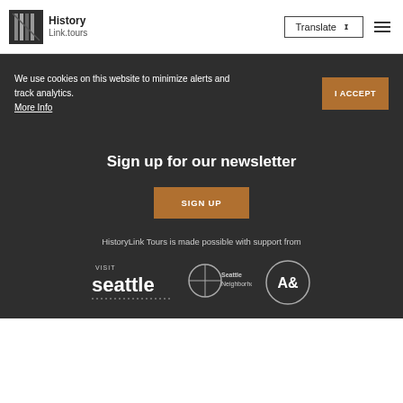History Link.tours — Translate — Navigation menu
We use cookies on this website to minimize alerts and track analytics. More Info
I ACCEPT
Sign up for our newsletter
SIGN UP
HistoryLink Tours is made possible with support from
[Figure (logo): Visit Seattle logo]
[Figure (logo): Seattle Neighborhoods logo]
[Figure (logo): A& logo]